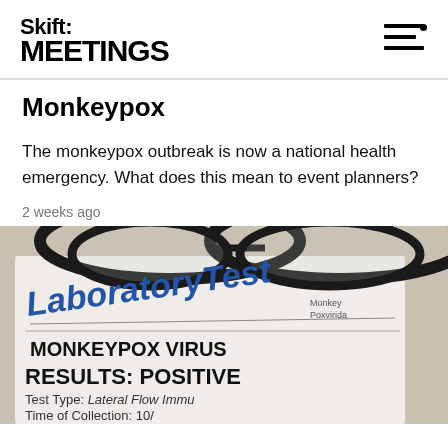Skift MEETINGS
Monkeypox
The monkeypox outbreak is now a national health emergency. What does this mean to event planners?
2 weeks ago
[Figure (photo): Close-up photograph of a Laboratory Test document showing 'MONKEYPOX VIRUS', 'RESULTS: POSITIVE', 'Test Type: Lateral Flow Immu...', 'Time of Collection: 10/...' with glasses resting on top of the document. Text 'MonkeyPox Poxviriidae' visible in upper right.]